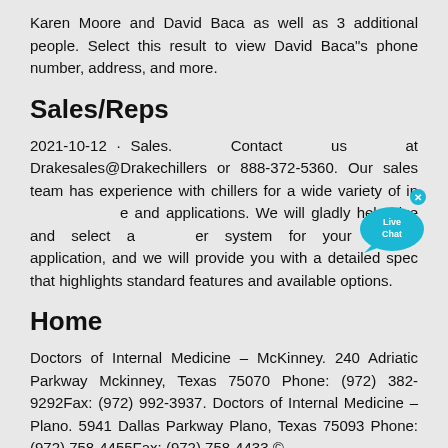Karen Moore and David Baca as well as 3 additional people. Select this result to view David Baca"s phone number, address, and more.
Sales/Reps
2021-10-12 · Sales. Contact us at Drakesales@Drakechillers or 888-372-5360. Our sales team has experience with chillers for a wide variety of industries and applications. We will gladly help size and select a chiller system for your specific application, and we will provide you with a detailed spec that highlights standard features and available options.
Home
Doctors of Internal Medicine – McKinney. 240 Adriatic Parkway Mckinney, Texas 75070 Phone: (972) 382-9292Fax: (972) 992-3937. Doctors of Internal Medicine – Plano. 5941 Dallas Parkway Plano, Texas 75093 Phone: (972) 758-4455Fax: (972) 758-4433 ©